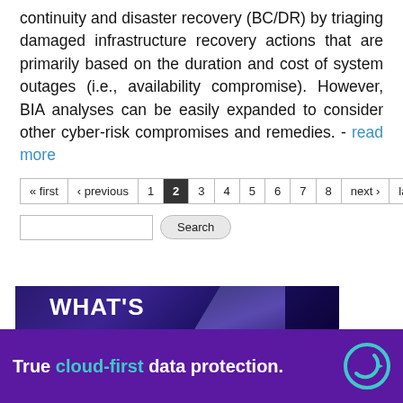continuity and disaster recovery (BC/DR) by triaging damaged infrastructure recovery actions that are primarily based on the duration and cost of system outages (i.e., availability compromise). However, BIA analyses can be easily expanded to consider other cyber-risk compromises and remedies. - read more
« first ‹ previous 1 2 3 4 5 6 7 8 next › last »
[Figure (other): Search input box and Search button]
[Figure (other): Promotional banner image with dark blue/purple gradient background showing text WHAT'S NEXT FOR]
[Figure (other): Purple advertisement banner: True cloud-first data protection. with Cohesity logo]